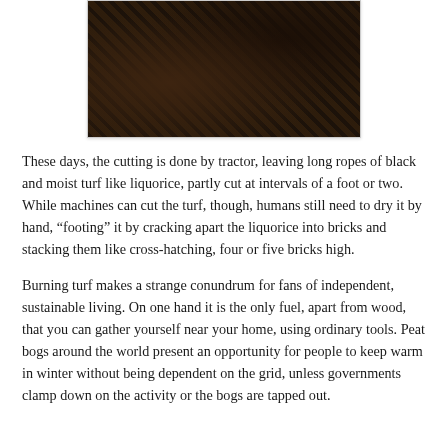[Figure (photo): Aerial/ground-level photograph of cut peat turf laid out in rows, showing dark brown-black rectangular blocks of peat arranged in a field pattern.]
These days, the cutting is done by tractor, leaving long ropes of black and moist turf like liquorice, partly cut at intervals of a foot or two. While machines can cut the turf, though, humans still need to dry it by hand, “footing” it by cracking apart the liquorice into bricks and stacking them like cross-hatching, four or five bricks high.
Burning turf makes a strange conundrum for fans of independent, sustainable living. On one hand it is the only fuel, apart from wood, that you can gather yourself near your home, using ordinary tools. Peat bogs around the world present an opportunity for people to keep warm in winter without being dependent on the grid, unless governments clamp down on the activity or the bogs are tapped out.